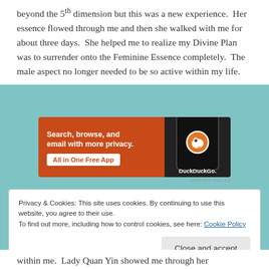beyond the 5th dimension but this was a new experience.  Her essence flowed through me and then she walked with me for about three days.  She helped me to realize my Divine Plan was to surrender onto the Feminine Essence completely.  The male aspect no longer needed to be so active within my life.
[Figure (screenshot): DuckDuckGo advertisement banner: orange background with text 'Search, browse, and email with more privacy.' and 'All in One Free App' button, with a phone image showing the DuckDuckGo icon on the right side.]
REPORT THIS AD
Privacy & Cookies: This site uses cookies. By continuing to use this website, you agree to their use.
To find out more, including how to control cookies, see here: Cookie Policy
Close and accept
within me.  Lady Quan Yin showed me through her